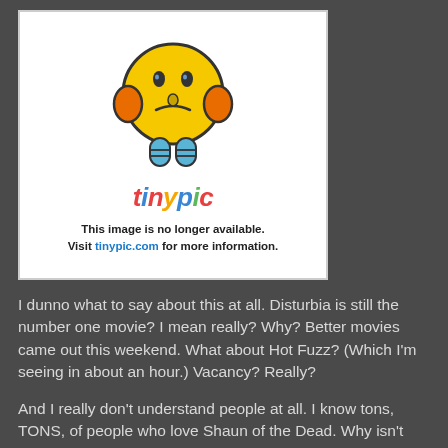[Figure (illustration): TinyPic placeholder image showing a sad/worried yellow emoji face with hands on cheeks, blue body, and orange ears. Below the emoji is the 'tinypic' logo in colorful letters. Text reads: 'This image is no longer available. Visit tinypic.com for more information.']
I dunno what to say about this at all. Disturbia is still the number one movie? I mean really? Why? Better movies came out this weekend. What about Hot Fuzz? (Which I'm seeing in about an hour.) Vacancy? Really?
And I really don't understand people at all. I know tons, TONS, of people who love Shaun of the Dead. Why isn't Hot